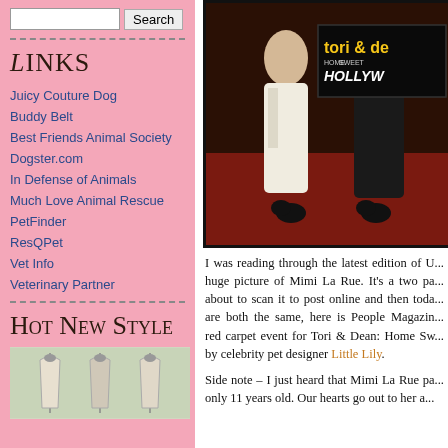Search (input box and button)
- - - - - - - - - - - - - - - - - - - - - - - - -
Links
Juicy Couture Dog
Buddy Belt
Best Friends Animal Society
Dogster.com
In Defense of Animals
Much Love Animal Rescue
PetFinder
ResQPet
Vet Info
Veterinary Partner
- - - - - - - - - - - - - - - - - - - - - - - - -
Hot New Style
[Figure (photo): Photo of items on hangers, light background]
[Figure (photo): Tori & Dean: Home Sweet Hollywood TV show promotional image with two people on red carpet]
I was reading through the latest edition of U... huge picture of Mimi La Rue. It's a two pa... about to scan it to post online and then toda... are both the same, here is People Magazi... red carpet event for Tori & Dean: Home S... by celebrity pet designer Little Lily.
Side note – I just heard that Mimi La Rue pa... only 11 years old. Our hearts go out to her a...